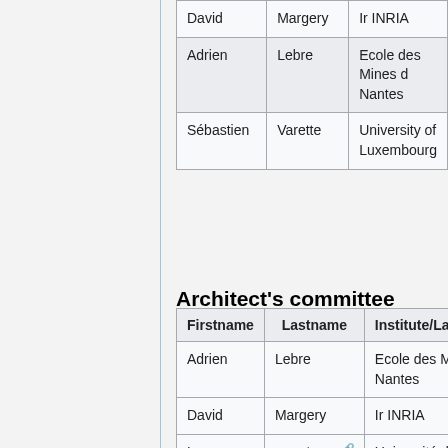| Firstname | Lastname | Institute/Laboratory |
| --- | --- | --- |
| David | Margery | Ir INRIA |
| Adrien | Lebre | Ecole des Mines de Nantes |
| Sébastien | Varette | University of Luxembourg |
Architect's committee
| Firstname | Lastname | Institute/Laboratory |
| --- | --- | --- |
| Adrien | Lebre | Ecole des Mines de Nantes |
| David | Margery | Ir INRIA |
| Lucas | Nussbaum | Université de Lorraine, LORIA |